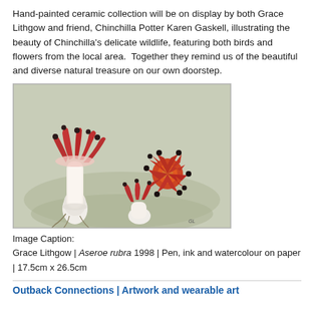Hand-painted ceramic collection will be on display by both Grace Lithgow and friend, Chinchilla Potter Karen Gaskell, illustrating the beauty of Chinchilla's delicate wildlife, featuring both birds and flowers from the local area.  Together they remind us of the beautiful and diverse natural treasure on our own doorstep.
[Figure (illustration): Watercolour and pen illustration of Aseroe rubra (sea anemone fungus) showing multiple fungal specimens with red star-shaped arms and white egg-like bases on a muted green-brown background.]
Image Caption:
Grace Lithgow | Aseroe rubra 1998 | Pen, ink and watercolour on paper | 17.5cm x 26.5cm
Outback Connections | Artwork and wearable art